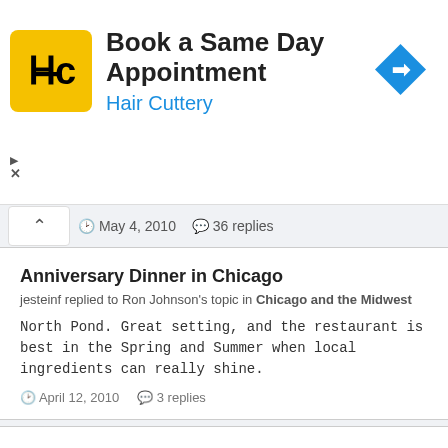[Figure (other): Hair Cuttery advertisement banner: logo with HC letters on yellow background, title 'Book a Same Day Appointment', subtitle 'Hair Cuttery', blue arrow navigation icon on right, skip/close controls on left]
May 4, 2010  36 replies
Anniversary Dinner in Chicago
jesteinf replied to Ron Johnson's topic in Chicago and the Midwest
North Pond. Great setting, and the restaurant is best in the Spring and Summer when local ingredients can really shine.
April 12, 2010  3 replies
the publican, chicago
jesteinf replied to mongo_jones's topic in Chicago and the Midwest
The Publican is a really great spot that has evolved